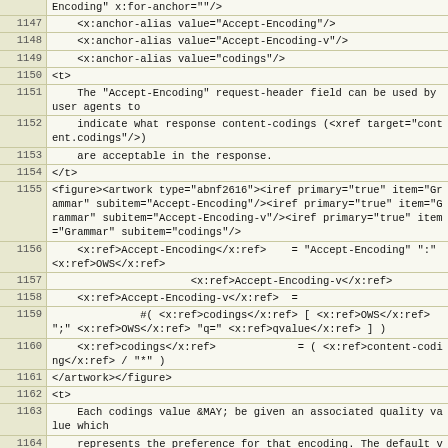| line | code |
| --- | --- |
|  | Encoding" x:for-anchor=""/> |
| 1147 |     <x:anchor-alias value="Accept-Encoding"/> |
| 1148 |     <x:anchor-alias value="Accept-Encoding-v"/> |
| 1149 |     <x:anchor-alias value="codings"/> |
| 1150 | <t> |
| 1151 |     The "Accept-Encoding" request-header field can be used by user agents to |
| 1152 |     indicate what response content-codings (<xref target="content.codings"/>) |
| 1153 |     are acceptable in the response. |
| 1154 | </t> |
| 1155 | <figure><artwork type="abnf2616"><iref primary="true" item="Grammar" subitem="Accept-Encoding"/><iref primary="true" item="Grammar" subitem="Accept-Encoding-v"/><iref primary="true" item="Grammar" subitem="codings"/> |
| 1156 |     <x:ref>Accept-Encoding</x:ref>    = "Accept-Encoding" ":" <x:ref>OWS</x:ref> |
| 1157 |                       <x:ref>Accept-Encoding-v</x:ref> |
| 1158 |     <x:ref>Accept-Encoding-v</x:ref>  = |
| 1159 |               #( <x:ref>codings</x:ref> [ <x:ref>OWS</x:ref> ";" <x:ref>OWS</x:ref> "q=" <x:ref>qvalue</x:ref> ] ) |
| 1160 |     <x:ref>codings</x:ref>             = ( <x:ref>content-coding</x:ref> / "*" ) |
| 1161 | </artwork></figure> |
| 1162 | <t> |
| 1163 |     Each codings value &MAY; be given an associated quality value which |
| 1164 |     represents the preference for that encoding. The default value is q=1. |
| 1165 | </t> |
| 1166 | <t> |
| 1167 |     Examples of its use are: |